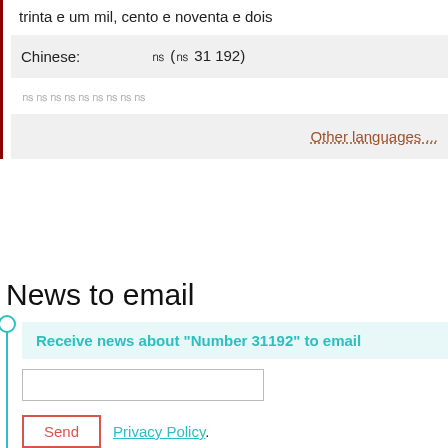trinta e um mil, cento e noventa e dois
| Chinese: | ㊱ (㊱ 31 192) |
| --- | --- |
㊱㊱㊱㊱㊱㊱㊱㊱㊱
Other languages ...
News to email
Receive news about "Number 31192" to email
Send  Privacy Policy.